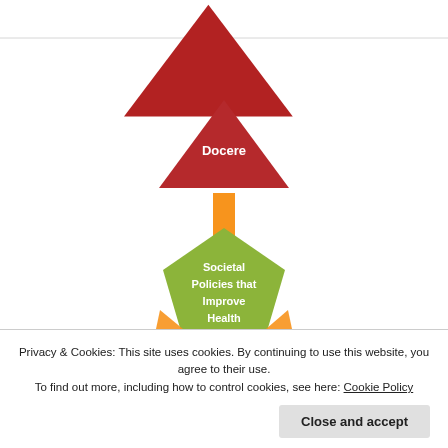[Figure (flowchart): Hierarchical diagram showing 'Societal Policies that Improve Health' pentagon (green) at center-top with a red arrow pointing up to 'Docere' triangle (dark red). Orange arrows point outward in multiple directions. A purple trapezoid shape is below with 'PsychosocialSpiritual' text partially visible. 'Clinical Care' partial hexagon on left (blue/teal), 'Prevention' partial hexagon on right (teal). A red double-headed vertical arrow in the center. Orange triangles pointing outward. At the bottom a green shape is partially visible with a red downward arrow.]
Privacy & Cookies: This site uses cookies. By continuing to use this website, you agree to their use.
To find out more, including how to control cookies, see here: Cookie Policy
Close and accept